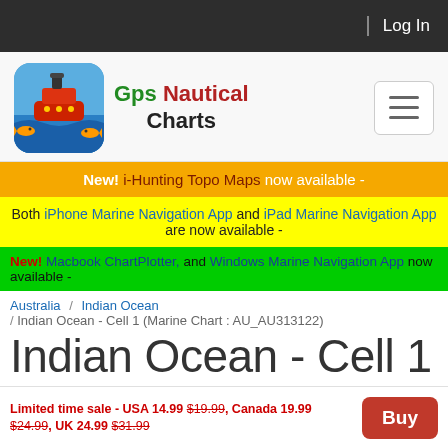Log In
[Figure (logo): GPS Nautical Charts app icon: red ship with fish on blue/green water background]
Gps Nautical Charts
New! i-Hunting Topo Maps now available -
Both iPhone Marine Navigation App and iPad Marine Navigation App are now available -
New! Macbook ChartPlotter, and Windows Marine Navigation App now available -
Australia / Indian Ocean / Indian Ocean - Cell 1 (Marine Chart : AU_AU313122)
Indian Ocean - Cell 1 (Marine Chart : AU_AU313122)
Limited time sale - USA 14.99 $19.99, Canada 19.99 $24.99, UK 24.99 $31.99